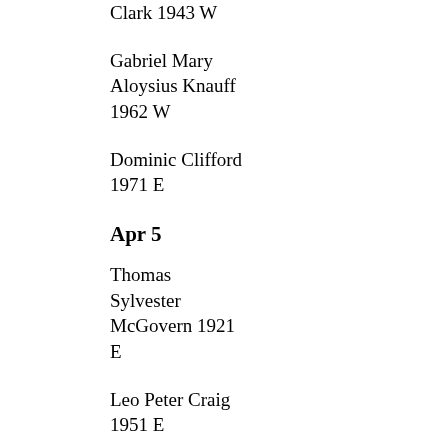Clark 1943 W
Gabriel Mary Aloysius Knauff 1962 W
Dominic Clifford 1971 E
Apr 5
Thomas Sylvester McGovern 1921 E
Leo Peter Craig 1951 E
Terrence Stephen McDermott 1963 E
Apr 6
Aloysius Alfred